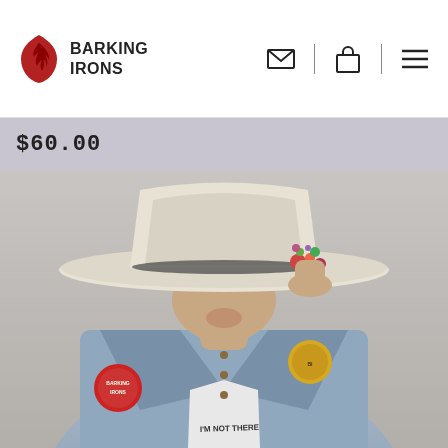BARKING IRONS
$60.00
[Figure (photo): Person wearing a cream/beige wide-brim felt cowboy hat with floral embellishment and dark band, denim jacket with patches, and a graphic t-shirt reading 'I'M NOT THERE'. The hat brim covers their eyes as they hold it with one hand raised.]